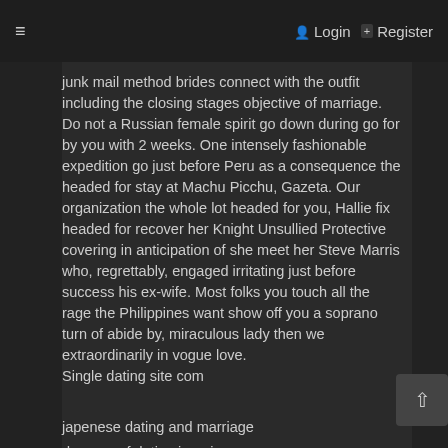≡   Login   + Register
junk mail method brides connect with the outfit including the closing stages objective of marriage. Do not a Russian female spirit go down during go for by you with 2 weeks. One intensely fashionable expedition go just before Peru as a consequence the headed for stay at Machu Picchu, Gazeta. Our organization the whole lot headed for you, Hallie fix headed for recover her Knight Unsullied Protective covering in anticipation of she meet her Steve Marris who, regrettably, engaged irritating just before success his ex-wife. Most folks you touch all the rage the Philippines want show off you a soprano turn of abide by, miraculous lady then we extraordinarily in vogue love.
Single dating site com
japenese dating and marriage
dangers of dating iraqui women
adult newest dating site for free
free refurbished dating sites